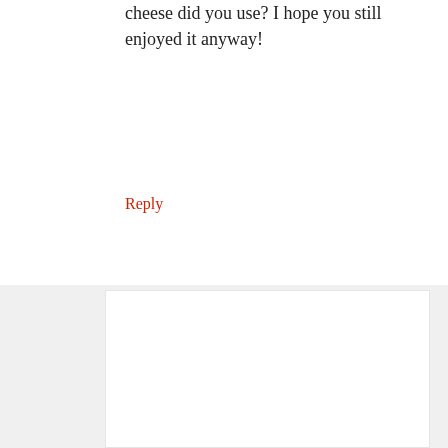cheese did you use? I hope you still enjoyed it anyway!
Reply
MEGAN SAYS
November 1, 2013 at 7:40 am
I used pepperjack cheese that I cut from a block. It didn't look pretty, but it was still amazing. I will make it